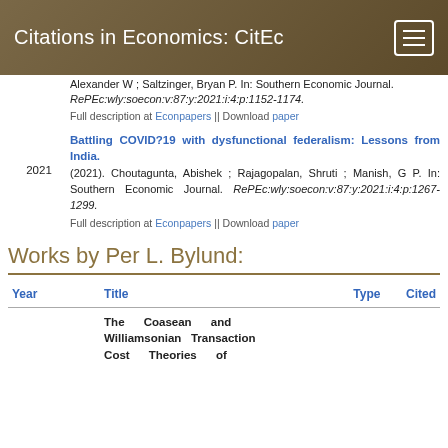Citations in Economics: CitEc
Alexander W ; Saltzinger, Bryan P In: Southern Economic Journal. RePEc:wly:soecon:v:87:y:2021:i:4:p:1152-1174.
Full description at Econpapers || Download paper
Battling COVID?19 with dysfunctional federalism: Lessons from India.
(2021). Choutagunta, Abishek ; Rajagopalan, Shruti ; Manish, G P. In: Southern Economic Journal. RePEc:wly:soecon:v:87:y:2021:i:4:p:1267-1299.
Full description at Econpapers || Download paper
Works by Per L. Bylund:
| Year | Title | Type | Cited |
| --- | --- | --- | --- |
|  | The Coasean and Williamsonian Transaction Cost Theories of |  |  |